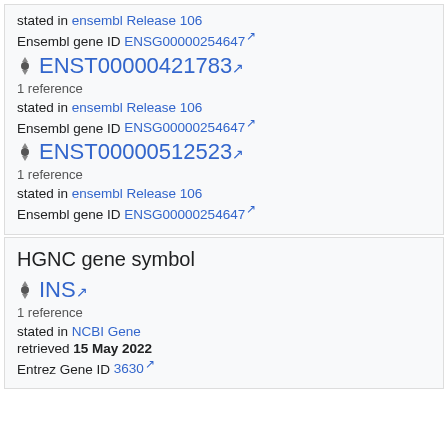stated in ensembl Release 106
Ensembl gene ID ENSG00000254647
ENST00000421783
1 reference
stated in ensembl Release 106
Ensembl gene ID ENSG00000254647
ENST00000512523
1 reference
stated in ensembl Release 106
Ensembl gene ID ENSG00000254647
HGNC gene symbol
INS
1 reference
stated in NCBI Gene
retrieved 15 May 2022
Entrez Gene ID 3630